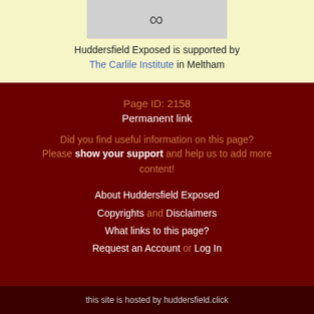[Figure (illustration): Partial logo/header image of Huddersfield Exposed with decorative swirl symbol on light gray background]
Huddersfield Exposed is supported by The Carlile Institute in Meltham
Page ID: 2158
Permanent link
Did you find useful information on this page?
Please show your support and help us to add more content!
About Huddersfield Exposed
Copyrights and Disclaimers
What links to this page?
Request an Account or Log In
this site is hosted by huddersfield.click